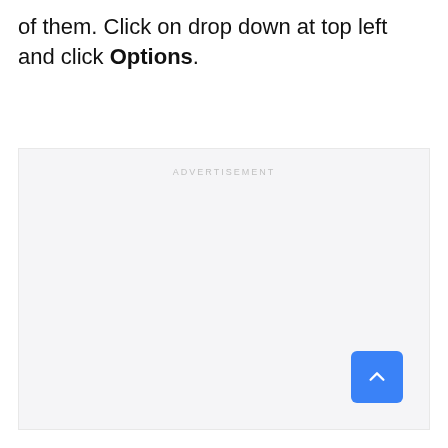of them. Click on drop down at top left and click Options.
[Figure (other): Advertisement placeholder box with light grey background and 'ADVERTISEMENT' label at top center. Contains a scroll-to-top button in the bottom right corner (blue rounded square with white upward chevron arrow).]